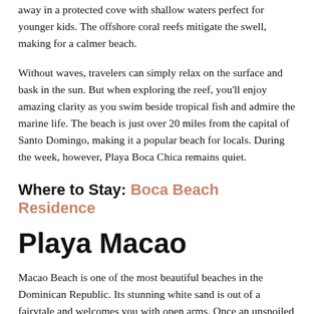away in a protected cove with shallow waters perfect for younger kids. The offshore coral reefs mitigate the swell, making for a calmer beach.
Without waves, travelers can simply relax on the surface and bask in the sun. But when exploring the reef, you'll enjoy amazing clarity as you swim beside tropical fish and admire the marine life. The beach is just over 20 miles from the capital of Santo Domingo, making it a popular beach for locals. During the week, however, Playa Boca Chica remains quiet.
Where to Stay: Boca Beach Residence
Playa Macao
Macao Beach is one of the most beautiful beaches in the Dominican Republic. Its stunning white sand is out of a fairytale and welcomes you with open arms. Once an unspoiled gem, the